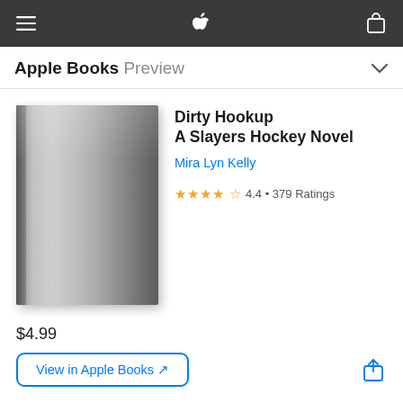Apple Books Preview
Dirty Hookup
A Slayers Hockey Novel
Mira Lyn Kelly
4.4 • 379 Ratings
[Figure (illustration): Gray book cover placeholder with spine shading on left side]
$4.99
View in Apple Books ↗